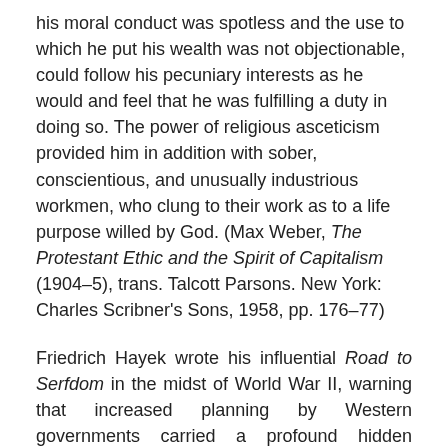his moral conduct was spotless and the use to which he put his wealth was not objectionable, could follow his pecuniary interests as he would and feel that he was fulfilling a duty in doing so. The power of religious asceticism provided him in addition with sober, conscientious, and unusually industrious workmen, who clung to their work as to a life purpose willed by God. (Max Weber, The Protestant Ethic and the Spirit of Capitalism (1904–5), trans. Talcott Parsons. New York: Charles Scribner's Sons, 1958, pp. 176–77)
Friedrich Hayek wrote his influential Road to Serfdom in the midst of World War II, warning that increased planning by Western governments carried a profound hidden danger. Here is his thesis:
For at least twenty-five years before the specter of totalitarianism became a real threat, we had